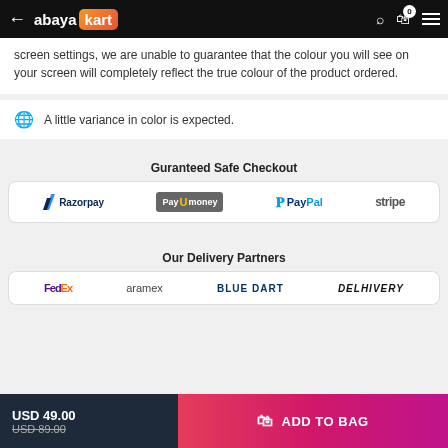abayakart — navigation bar with back arrow, search, bag (0), and menu icons
screen settings, we are unable to guarantee that the colour you will see on your screen will completely reflect the true colour of the product ordered.
A little variance in color is expected.
Guranteed Safe Checkout
[Figure (logo): Payment logos: Razorpay, PayUmoney, PayPal, stripe]
Our Delivery Partners
[Figure (logo): Delivery partner logos: FedEx, aramex, BLUE DART, DELHIVERY]
USD 49.00 / USD 89.00 (strikethrough) | ADD TO BAG